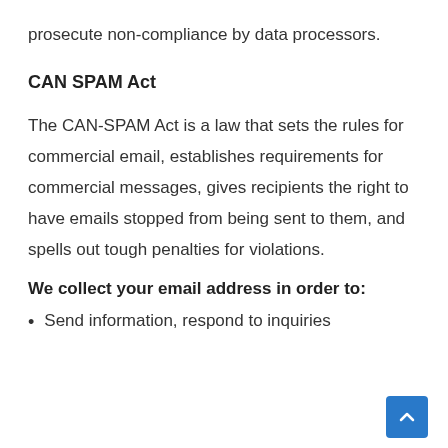prosecute non-compliance by data processors.
CAN SPAM Act
The CAN-SPAM Act is a law that sets the rules for commercial email, establishes requirements for commercial messages, gives recipients the right to have emails stopped from being sent to them, and spells out tough penalties for violations.
We collect your email address in order to:
Send information, respond to inquiries